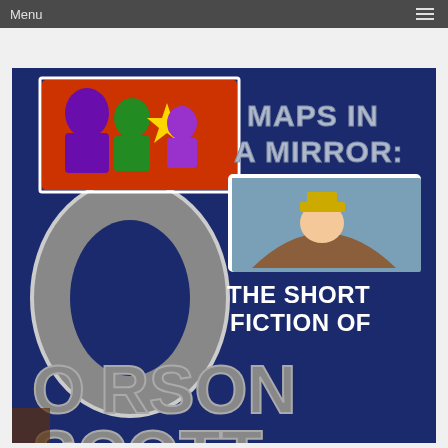Menu
[Figure (illustration): Book cover for 'Maps in a Mirror: The Short Fiction of Orson Scott Card'. Dark navy blue background with a large stylized letter O on the left side in gray. Top area shows comic-style illustration of fantasy characters including a purple/green villain figure. Title text reads 'MAPS IN A MIRROR:' in silver/gray letters at top right. Below title is a small rectangular illustration showing a person in a cap. Below that reads 'THE SHORT FICTION OF' in white bold letters. Bottom portion shows 'ORSON SCOTT' in large silver 3D letters partially cropped at bottom.]